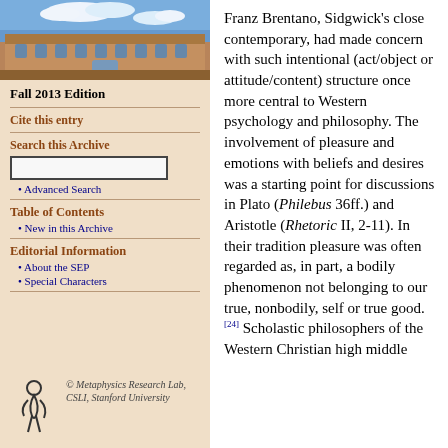[Figure (photo): Photograph of a university building (sandstone architecture) with blue sky and clouds]
Fall 2013 Edition
Cite this entry
Search this Archive
Advanced Search
Table of Contents
New in this Archive
Editorial Information
About the SEP
Special Characters
[Figure (logo): Metaphysics Research Lab, CSLI, Stanford University logo with stylized figure]
© Metaphysics Research Lab, CSLI, Stanford University
Franz Brentano, Sidgwick's close contemporary, had made concern with such intentional (act/object or attitude/content) structure once more central to Western psychology and philosophy. The involvement of pleasure and emotions with beliefs and desires was a starting point for discussions in Plato (Philebus 36ff.) and Aristotle (Rhetoric II, 2-11). In their tradition pleasure was often regarded as, in part, a bodily phenomenon not belonging to our true, nonbodily, self or true good.[24] Scholastic philosophers of the Western Christian high middle